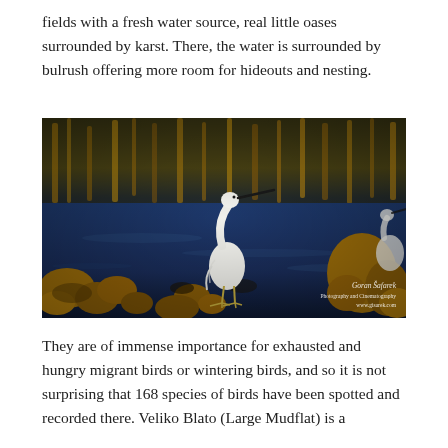fields with a fresh water source, real little oases surrounded by karst. There, the water is surrounded by bulrush offering more room for hideouts and nesting.
[Figure (photo): A white egret (little egret) wading among rocks in shallow blue water, with golden bokeh reeds/vegetation in the background. Watermark reads 'Goran Šafarek' with photography website text below.]
They are of immense importance for exhausted and hungry migrant birds or wintering birds, and so it is not surprising that 168 species of birds have been spotted and recorded there. Veliko Blato (Large Mudflat) is a